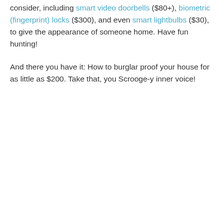consider, including smart video doorbells ($80+), biometric (fingerprint) locks ($300), and even smart lightbulbs ($30), to give the appearance of someone home. Have fun hunting!
And there you have it: How to burglar proof your house for as little as $200. Take that, you Scrooge-y inner voice!